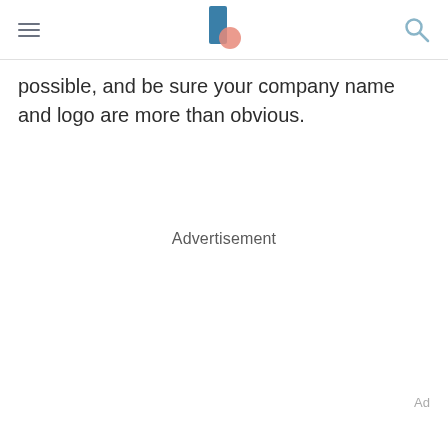[hamburger menu] [logo] [search icon]
possible, and be sure your company name and logo are more than obvious.
Advertisement
Ad